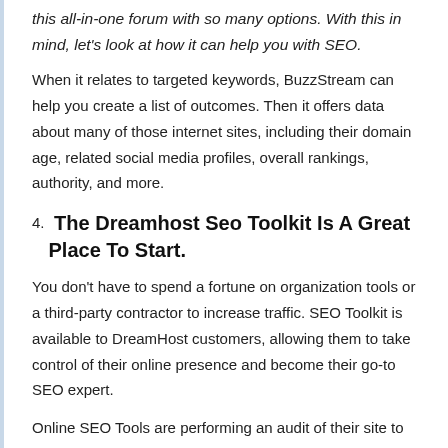this all-in-one forum with so many options. With this in mind, let's look at how it can help you with SEO.
When it relates to targeted keywords, BuzzStream can help you create a list of outcomes. Then it offers data about many of those internet sites, including their domain age, related social media profiles, overall rankings, authority, and more.
4. The Dreamhost Seo Toolkit Is A Great Place To Start.
You don't have to spend a fortune on organization tools or a third-party contractor to increase traffic. SEO Toolkit is available to DreamHost customers, allowing them to take control of their online presence and become their go-to SEO expert.
Online SEO Tools are performing an audit of their site to